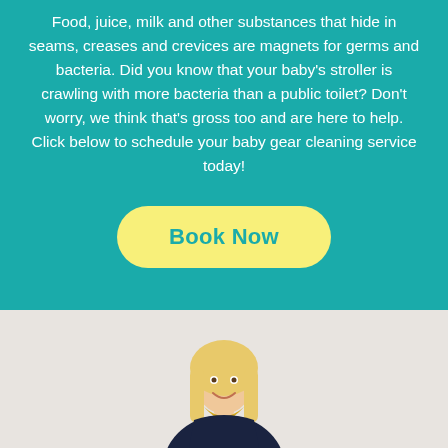Food, juice, milk and other substances that hide in seams, creases and crevices are magnets for germs and bacteria. Did you know that your baby's stroller is crawling with more bacteria than a public toilet? Don't worry, we think that's gross too and are here to help. Click below to schedule your baby gear cleaning service today!
Book Now
[Figure (photo): Blonde woman smiling, wearing a dark uniform shirt with a gold/yellow scarf/bandana, photographed from the waist up against a light grey background]